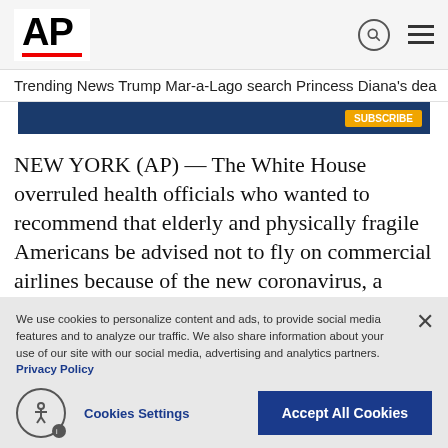AP
Trending News   Trump Mar-a-Lago search   Princess Diana's dea
[Figure (other): Blue banner advertisement area]
NEW YORK (AP) — The White House overruled health officials who wanted to recommend that elderly and physically fragile Americans be advised not to fly on commercial airlines because of the new coronavirus, a federal official told The Associated Press.
We use cookies to personalize content and ads, to provide social media features and to analyze our traffic. We also share information about your use of our site with our social media, advertising and analytics partners. Privacy Policy
Cookies Settings
Accept All Cookies